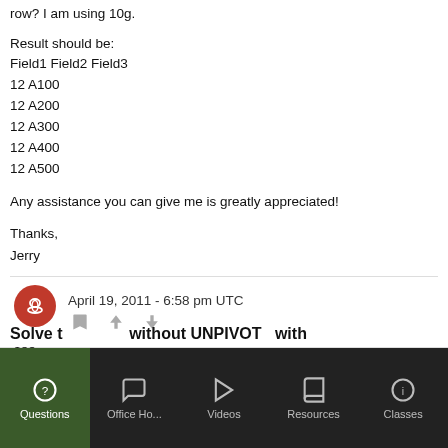row? I am using 10g.
Result should be:
Field1 Field2 Field3
12 A100
12 A200
12 A300
12 A400
12 A500
Any assistance you can give me is greatly appreciated!
Thanks,
Jerry
April 19, 2011 - 6:58 pm UTC
see
http://asktom.oracle.com/pls/asktom/f?p=100:11:0::::P11_QUESTION_ID:2189860818012#214623130034615810 4
Questions  Office Ho...  Videos  Resources  Classes